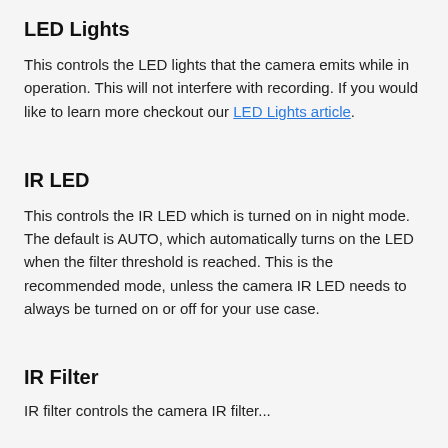LED Lights
This controls the LED lights that the camera emits while in operation. This will not interfere with recording. If you would like to learn more checkout our LED Lights article.
IR LED
This controls the IR LED which is turned on in night mode. The default is AUTO, which automatically turns on the LED when the filter threshold is reached. This is the recommended mode, unless the camera IR LED needs to always be turned on or off for your use case.
IR Filter
IR filter controls the camera IR filter...